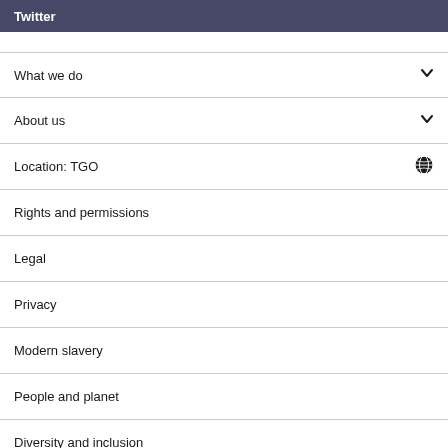Twitter
What we do
About us
Location: TGO
Rights and permissions
Legal
Privacy
Modern slavery
People and planet
Diversity and inclusion
Sitemap